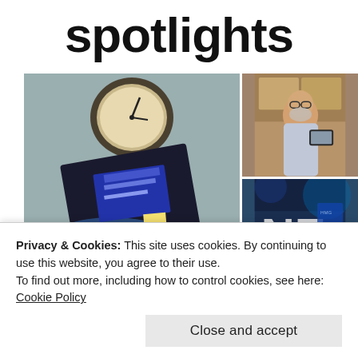spotlights
[Figure (photo): Three-photo collage: left large photo of books/awards displayed with a clock in background and blue satin fabric; top right photo of a smiling man with beard and glasses holding a photo; bottom right photo of two people at an event stage with blue lighting and 'NE' letters visible]
Privacy & Cookies: This site uses cookies. By continuing to use this website, you agree to their use.
To find out more, including how to control cookies, see here: Cookie Policy
Close and accept